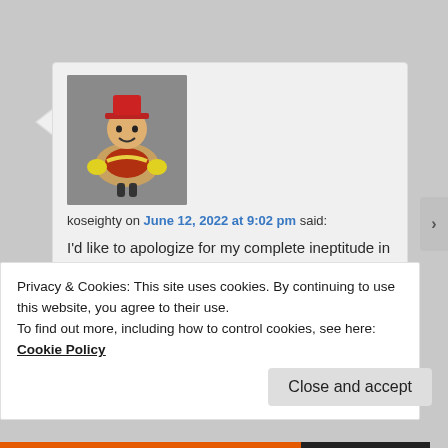[Figure (illustration): Avatar image of a cartoon hot dog character wearing a red hat and yellow gloves, used as a user profile picture.]
koseighty on June 12, 2022 at 9:02 pm said:
I'd like to apologize for my complete ineptitude in being able to use the correct reply button to get my comments under the intended target comment. I'm new here (after some time lurking), I hope to figure it out eventually.
Privacy & Cookies: This site uses cookies. By continuing to use this website, you agree to their use.
To find out more, including how to control cookies, see here: Cookie Policy
Close and accept